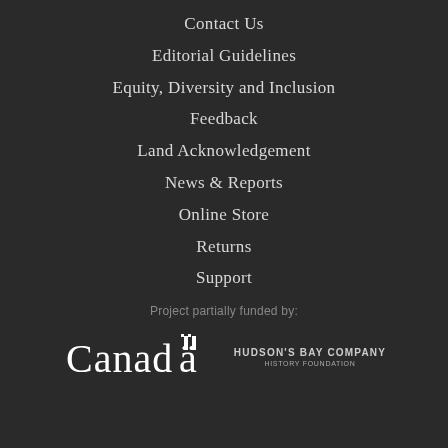Contact Us
Editorial Guidelines
Equity, Diversity and Inclusion
Feedback
Land Acknowledgement
News & Reports
Online Store
Returns
Support
Project partially funded by:
[Figure (logo): Canada government wordmark logo in white]
[Figure (logo): Hudson's Bay Company History Foundation logo in white text]